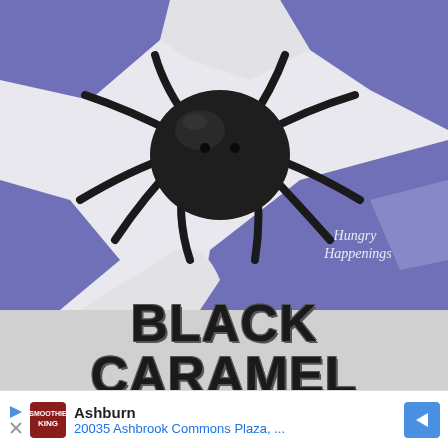[Figure (photo): A black caramel spider candy on a purple and white decorative paper background with 'Hungry Happenings' text visible in lower right]
BLACK CARAMEL SPIDERS
[Figure (photo): Three step-by-step images showing the process of making black caramel spider candies with Wilton products]
Ashburn
20035 Ashbrook Commons Plaza, ...